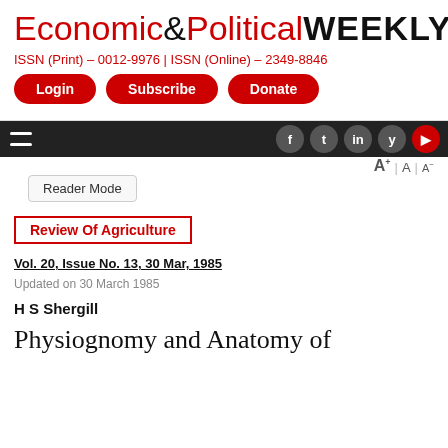Economic&Political WEEKLY
ISSN (Print) - 0012-9976 | ISSN (Online) - 2349-8846
Login   Subscribe   Donate
Review Of Agriculture
Vol. 20, Issue No. 13, 30 Mar, 1985
Updated on 30 March 1985
H S Shergill
Physiognomy and Anatomy of